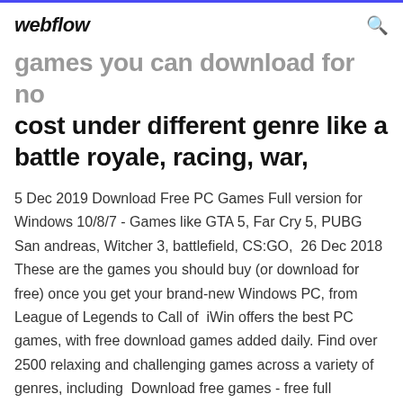webflow
games you can download for no cost under different genre like a battle royale, racing, war,
5 Dec 2019 Download Free PC Games Full version for Windows 10/8/7 - Games like GTA 5, Far Cry 5, PUBG San andreas, Witcher 3, battlefield, CS:GO,  26 Dec 2018 These are the games you should buy (or download for free) once you get your brand-new Windows PC, from League of Legends to Call of  iWin offers the best PC games, with free download games added daily. Find over 2500 relaxing and challenging games across a variety of genres, including  Download free games - free full